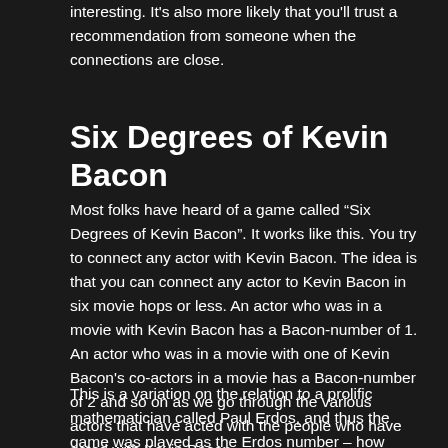interesting. It's also more likely that you'll trust a recommendation from someone when the connections are close.
Six Degrees of Kevin Bacon
Most folks have heard of a game called “Six Degrees of Kevin Bacon”. It works like this. You try to connect any actor with Kevin Bacon. The idea is that you can connect any actor to Kevin Bacon in six movie hops or less. An actor who was in a movie with Kevin Bacon has a Bacon-number of 1. An actor who was in a movie with one of Kevin Bacon’s co-actors in a movie has a Bacon-number of 2 and so on as we go through the various actors that have acted with the people who have acted with Kevin Bacon.
This is a variation on the relation to a prolific mathematician called Paul Erdos, and thus the game was played as the Erdos number – how close based on publications every other mathematician was. Here we use for the book this interesting...